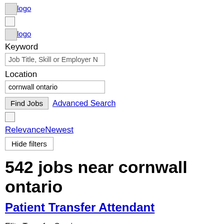[Figure (logo): Logo image link]
[Figure (logo): Logo image link (second)]
Keyword
Job Title, Skill or Employer N
Location
cornwall ontario
Find Jobs  Advanced Search
RelevanceNewest
Hide filters
542 jobs near cornwall ontario
Patient Transfer Attendant
Elite Transfer Service
— Cornwall, ON
However, this position is also full-time and the attendant will work in the range of 70-90 hours biweekly. This percentage increases with time worked for ETS.